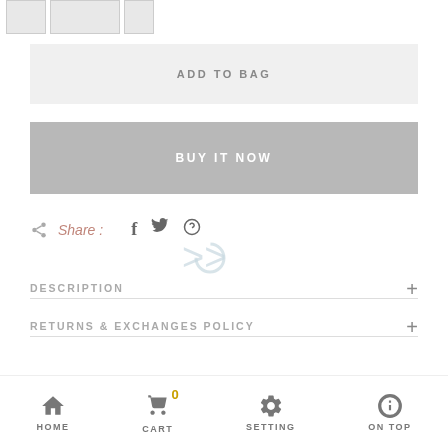[Figure (screenshot): Three product thumbnail images in a row at the top]
ADD TO BAG
BUY IT NOW
Share :
[Figure (infographic): Loading spinner overlay on social icons]
DESCRIPTION
RETURNS & EXCHANGES POLICY
HOME   CART 0   SETTING   ON TOP